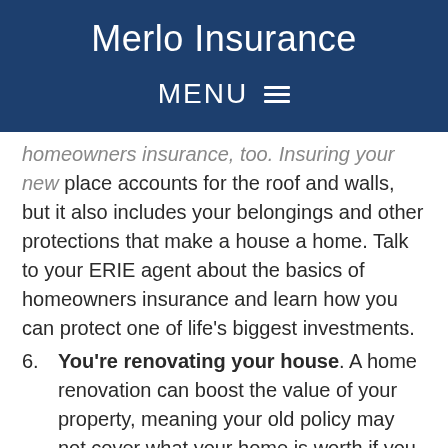Merlo Insurance
MENU
homeowners insurance, too. Insuring your new place accounts for the roof and walls, but it also includes your belongings and other protections that make a house a home. Talk to your ERIE agent about the basics of homeowners insurance and learn how you can protect one of life's biggest investments.
6. You're renovating your house. A home renovation can boost the value of your property, meaning your old policy may not cover what your home is worth if you file a claim. As